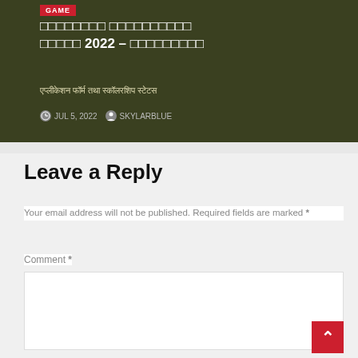[Figure (screenshot): Blog post card with dark olive/green background. Red 'GAME' badge at top. Hindi text title with '2022' and subtitle in Hindi (एप्लीकेशन फॉर्म तथा स्कॉलरशिप स्टेटस). Meta info: JUL 5, 2022 and SKYLARBLUE.]
Leave a Reply
Your email address will not be published. Required fields are marked *
Comment *